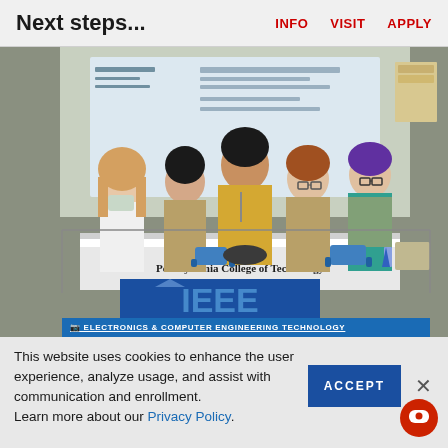Next steps...    INFO    VISIT    APPLY
[Figure (photo): Five young women (students/scouts) standing behind a table with robots, in front of a Pennsylvania College of Technology IEEE banner. Some wear scout vests. A projector screen is visible behind them.]
ELECTRONICS & COMPUTER ENGINEERING TECHNOLOGY
This website uses cookies to enhance the user experience, analyze usage, and assist with communication and enrollment. Learn more about our Privacy Policy.